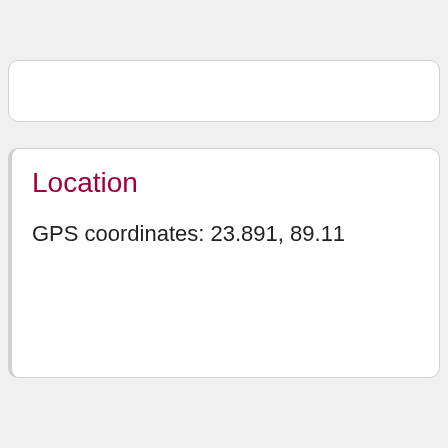Location
GPS coordinates: 23.891, 89.11